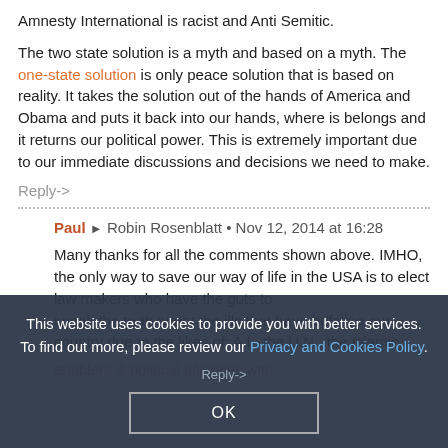Amnesty International is racist and Anti Semitic.
The two state solution is a myth and based on a myth. The one-state solution is only peace solution that is based on reality. It takes the solution out of the hands of America and Obama and puts it back into our hands, where is belongs and it returns our political power. This is extremely important due to our immediate discussions and decisions we need to make.
Reply->
Paul → Robin Rosenblatt • Nov 12, 2014 at 16:28
Many thanks for all the comments shown above. IMHO, the only way to save our way of life in the USA is to elect law makers who have the guts to speak the truth anent the ills that have befallen our country due to the likes of: A.I., the U.N., the Islamic enablers & political alliances with
Reply->
This website uses cookies to provide you with better services. To find out more, please review our Privacy and Cookies Policy.
OK